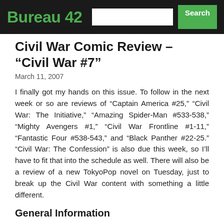Bureau 42
Civil War Comic Review – “Civil War #7”
March 11, 2007
I finally got my hands on this issue. To follow in the next week or so are reviews of “Captain America #25,” “Civil War: The Initiative,” “Amazing Spider-Man #533-538,” “Mighty Avengers #1,” “Civil War Frontline #1-11,” “Fantastic Four #538-543,” and “Black Panther #22-25.” “Civil War: The Confession” is also due this week, so I’ll have to fit that into the schedule as well. There will also be a review of a new TokyoPop novel on Tuesday, just to break up the Civil War content with something a little different.
General Information
Title: Civil War #7